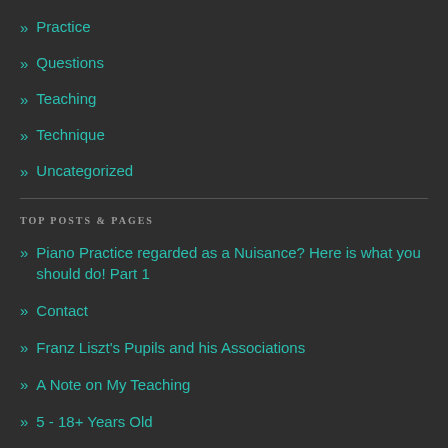» Practice
» Questions
» Teaching
» Technique
» Uncategorized
TOP POSTS & PAGES
» Piano Practice regarded as a Nuisance? Here is what you should do! Part 1
» Contact
» Franz Liszt's Pupils and his Associations
» A Note on My Teaching
» 5 - 18+ Years Old